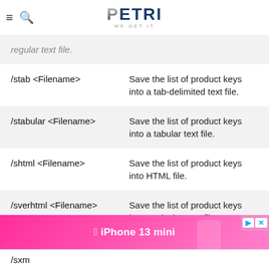PETRI WE GET IT
| Command | Description |
| --- | --- |
| (partial) regular text file. |  |
| /stab <Filename> | Save the list of product keys into a tab-delimited text file. |
| /stabular <Filename> | Save the list of product keys into a tabular text file. |
| /shtml <Filename> | Save the list of product keys into HTML file. |
| /sverhtml <Filename> | Save the list of product keys into vertical HTML file. |
| /sxm... |  |
[Figure (other): iPhone 13 mini advertisement banner]